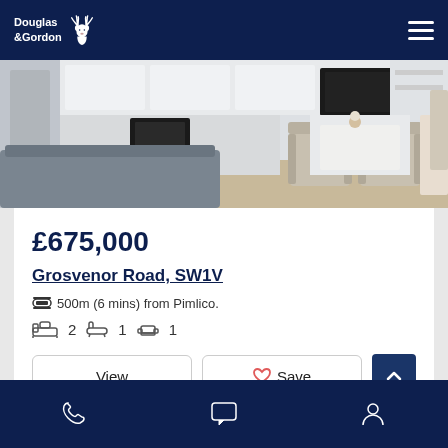Douglas & Gordon
[Figure (photo): Interior photo of a bright open-plan living room with white kitchen, dark sofa, ornate armchairs, and fireplace]
£675,000
Grosvenor Road, SW1V
500m (6 mins) from Pimlico.
2  1  1
View
Save
Phone  Chat  Account